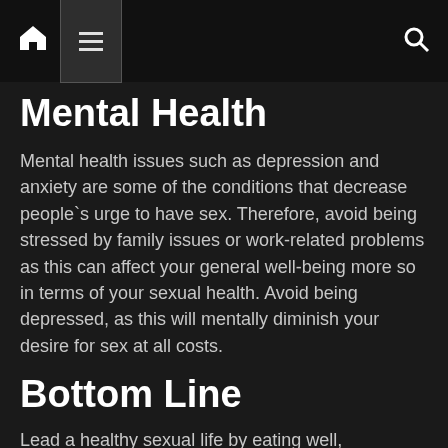Mental Health
Mental health issues such as depression and anxiety are some of the conditions that decrease people`s urge to have sex. Therefore, avoid being stressed by family issues or work-related problems as this can affect your general well-being more so in terms of your sexual health. Avoid being depressed, as this will mentally diminish your desire for sex at all costs.
Bottom Line
Lead a healthy sexual life by eating well, exercising your body, avoiding stress, alcohol and tobacco,